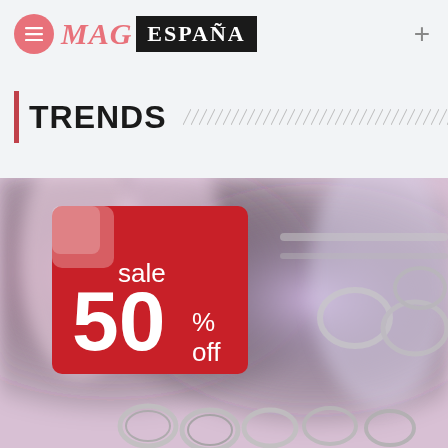MAG ESPAÑA
TRENDS
[Figure (photo): A close-up photo of clothing store hangers with a red sale tag reading 'sale 50% off' in white text, blurred pink/purple clothing in background]